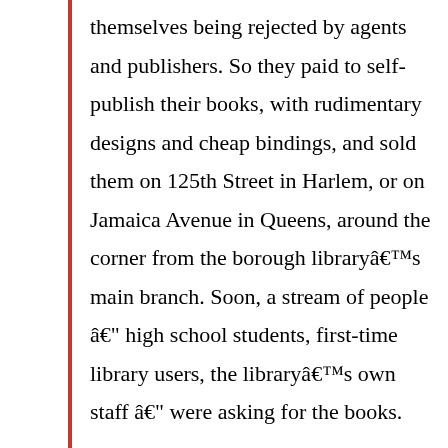themselves being rejected by agents and publishers. So they paid to self-publish their books, with rudimentary designs and cheap bindings, and sold them on 125th Street in Harlem, or on Jamaica Avenue in Queens, around the corner from the borough libraryâs main branch. Soon, a stream of people â high school students, first-time library users, the libraryâs own staff â were asking for the books. And the librarians went out on the street to buy them.